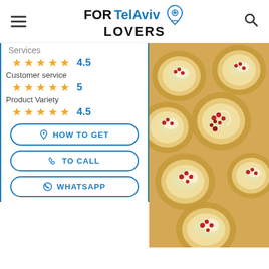FOR Tel Aviv LOVERS
Services
4.5 stars
Customer service
5 stars
Product Variety
4.5 stars
[Figure (photo): Overhead view of fruit tarts with pear slices and pomegranate seeds]
HOW TO GET
TO CALL
WHATSAPP
Unlock Essential Insights
This Summer, Add WSJ to Your Reading List for only $4 per month. The Wall Street Journal